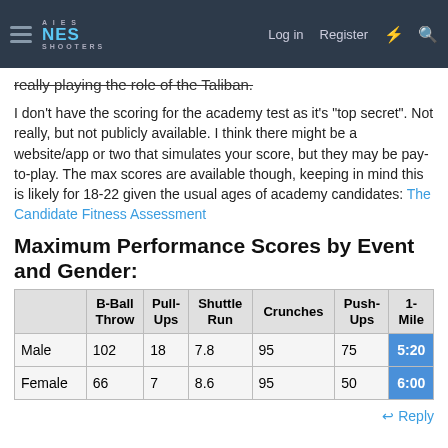NES SHOOTERS — navigation bar with Log in, Register, and search icons
really playing the role of the Taliban.
I don't have the scoring for the academy test as it's "top secret". Not really, but not publicly available. I think there might be a website/app or two that simulates your score, but they may be pay-to-play. The max scores are available though, keeping in mind this is likely for 18-22 given the usual ages of academy candidates: The Candidate Fitness Assessment
Maximum Performance Scores by Event and Gender:
|  | B-Ball Throw | Pull-Ups | Shuttle Run | Crunches | Push-Ups | 1-Mile |
| --- | --- | --- | --- | --- | --- | --- |
| Male | 102 | 18 | 7.8 | 95 | 75 | 5:20 |
| Female | 66 | 7 | 8.6 | 95 | 50 | 6:00 |
Reply